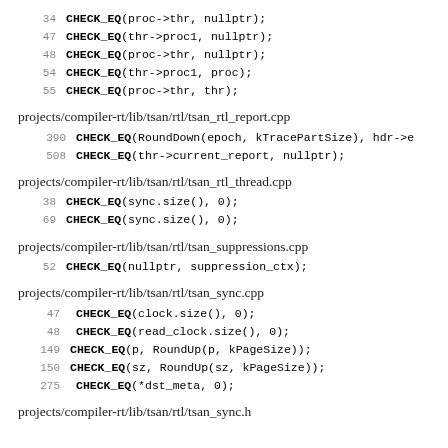34 CHECK_EQ(proc->thr, nullptr);
47 CHECK_EQ(thr->proc1, nullptr);
48 CHECK_EQ(proc->thr, nullptr);
54 CHECK_EQ(thr->proc1, proc);
55 CHECK_EQ(proc->thr, thr);
projects/compiler-rt/lib/tsan/rtl/tsan_rtl_report.cpp
390 CHECK_EQ(RoundDown(epoch, kTracePartSize), hdr->e
508 CHECK_EQ(thr->current_report, nullptr);
projects/compiler-rt/lib/tsan/rtl/tsan_rtl_thread.cpp
38 CHECK_EQ(sync.size(), 0);
69 CHECK_EQ(sync.size(), 0);
projects/compiler-rt/lib/tsan/rtl/tsan_suppressions.cpp
52 CHECK_EQ(nullptr, suppression_ctx);
projects/compiler-rt/lib/tsan/rtl/tsan_sync.cpp
47 CHECK_EQ(clock.size(), 0);
48 CHECK_EQ(read_clock.size(), 0);
149 CHECK_EQ(p, RoundUp(p, kPageSize));
150 CHECK_EQ(sz, RoundUp(sz, kPageSize));
275 CHECK_EQ(*dst_meta, 0);
projects/compiler-rt/lib/tsan/rtl/tsan_sync.h